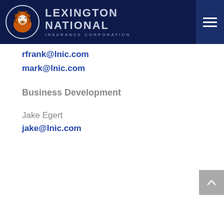Lexington National Insurance Corporation
rfrank@lnic.com
mark@lnic.com
Business Development
Jake Egert
jake@lnic.com